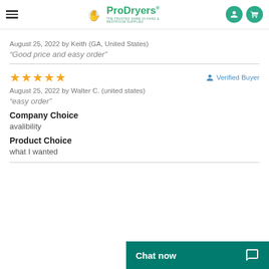ProDryers — THE TRUSTED NAME IN HAND & RESTROOM SUPPLIES
August 25, 2022 by Keith (GA, United States)
“Good price and easy order”
★★★★★ Verified Buyer
August 25, 2022 by Walter C. (united states)
“easy order”
Company Choice
avalibility
Product Choice
what I wanted